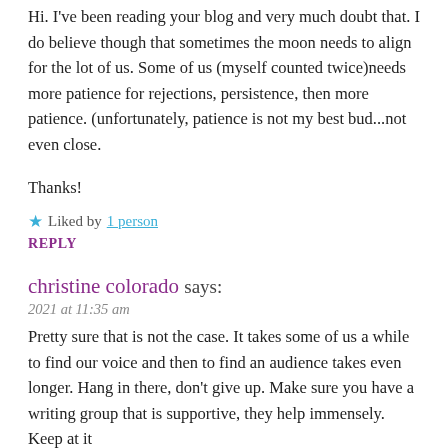Hi. I've been reading your blog and very much doubt that. I do believe though that sometimes the moon needs to align for the lot of us. Some of us (myself counted twice)needs more patience for rejections, persistence, then more patience. (unfortunately, patience is not my best bud...not even close.
Thanks!
★ Liked by 1 person
REPLY
christine colorado says:
2021 at 11:35 am
Pretty sure that is not the case. It takes some of us a while to find our voice and then to find an audience takes even longer. Hang in there, don't give up. Make sure you have a writing group that is supportive, they help immensely. Keep at it
★ Like
REPLY